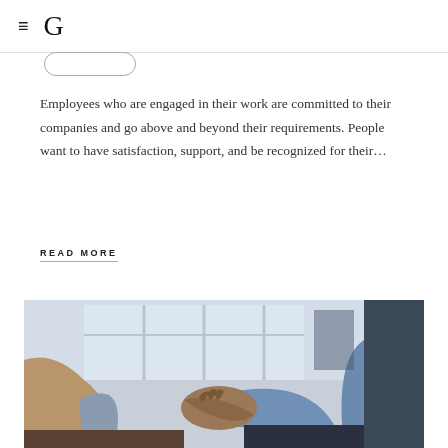≡ G
Employees who are engaged in their work are committed to their companies and go above and beyond their requirements. People want to have satisfaction, support, and be recognized for their…
READ MORE
[Figure (photo): Two people shaking hands in an office setting. One person wears a beige/tan jacket, the other a blue shirt with a lanyard. Background shows windows of a building.]